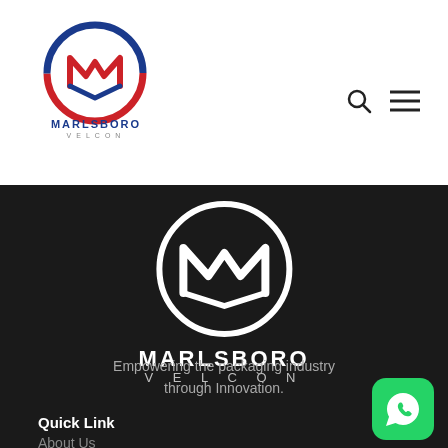[Figure (logo): Marlsboro Velcon logo top-left: circular emblem with M and V shapes in red and blue, with MARLSBORO text in dark blue and VELCON in gray]
[Figure (logo): Search icon and hamburger menu icon on the top right of the header]
[Figure (logo): Marlsboro Velcon white logo centered on dark background: circular emblem with M and V, MARLSBORO in white, VELCON in light gray below]
Empowering the packaging industry through Innovation.
Quick Link
About Us
[Figure (illustration): Green WhatsApp button with speech bubble phone icon in bottom-right corner]